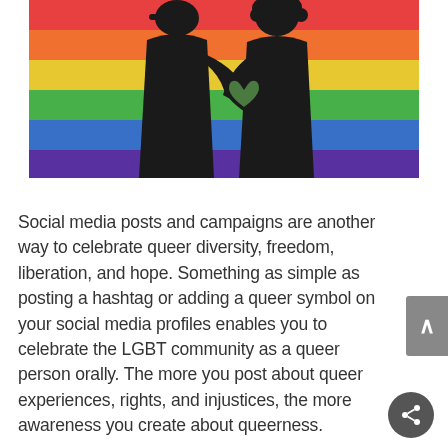[Figure (photo): Two silhouetted figures forming a heart shape with their hands against a rainbow pride flag background with horizontal stripes of red, orange, yellow, green, blue, and purple.]
Social media posts and campaigns are another way to celebrate queer diversity, freedom, liberation, and hope. Something as simple as posting a hashtag or adding a queer symbol on your social media profiles enables you to celebrate the LGBT community as a queer person orally. The more you post about queer experiences, rights, and injustices, the more awareness you create about queerness.